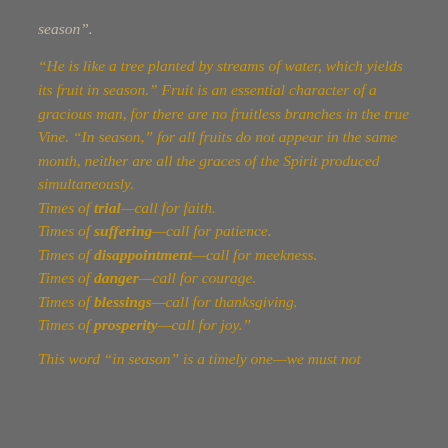season”.
“He is like a tree planted by streams of water, which yields its fruit in season.” Fruit is an essential character of a gracious man, for there are no fruitless branches in the true Vine. “In season,” for all fruits do not appear in the same month, neither are all the graces of the Spirit produced simultaneously.
Times of trial—call for faith.
Times of suffering—call for patience.
Times of disappointment—call for meekness.
Times of danger—call for courage.
Times of blessings—call for thanksgiving.
Times of prosperity—call for joy.”
This word “in season” is a timely one—we must not